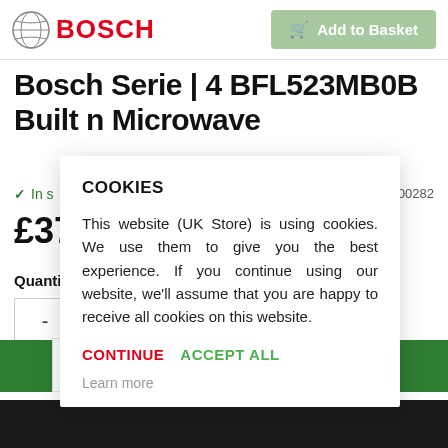[Figure (logo): Bosch logo with globe icon and red BOSCH wordmark]
Add to Basket
Bosch Serie | 4 BFL523MB0B Built n Microwave
In s
000282
£379
Quantity
-
COOKIES
This website (UK Store) is using cookies. We use them to give you the best experience. If you continue using our website, we'll assume that you are happy to receive all cookies on this website.
CONTINUE   ACCEPT ALL
Learn more